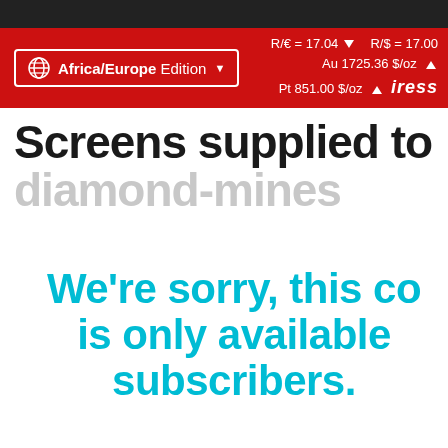Africa/Europe Edition  R/€ = 17.04 ▼  R/$ = 17.00  Au 1725.36 $/oz ▲  Pt 851.00 $/oz ▲  iress
Screens supplied to diamond-mines
We're sorry, this content is only available to subscribers.